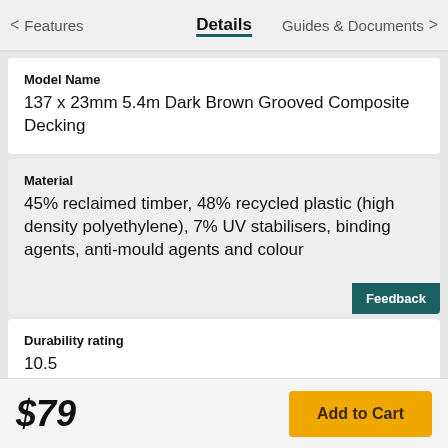< Features   Details   Guides & Documents >
Model Name
137 x 23mm 5.4m Dark Brown Grooved Composite Decking
Material
45% reclaimed timber, 48% recycled plastic (high density polyethylene), 7% UV stabilisers, binding agents, anti-mould agents and colour
Durability rating
10.5
$79
Add to Cart